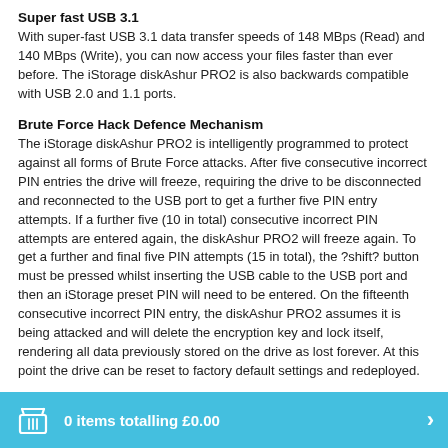Super fast USB 3.1
With super-fast USB 3.1 data transfer speeds of 148 MBps (Read) and 140 MBps (Write), you can now access your files faster than ever before. The iStorage diskAshur PRO2 is also backwards compatible with USB 2.0 and 1.1 ports.
Brute Force Hack Defence Mechanism
The iStorage diskAshur PRO2 is intelligently programmed to protect against all forms of Brute Force attacks. After five consecutive incorrect PIN entries the drive will freeze, requiring the drive to be disconnected and reconnected to the USB port to get a further five PIN entry attempts. If a further five (10 in total) consecutive incorrect PIN attempts are entered again, the diskAshur PRO2 will freeze again. To get a further and final five PIN attempts (15 in total), the ?shift? button must be pressed whilst inserting the USB cable to the USB port and then an iStorage preset PIN will need to be entered. On the fifteenth consecutive incorrect PIN entry, the diskAshur PRO2 assumes it is being attacked and will delete the encryption key and lock itself, rendering all data previously stored on the drive as lost forever. At this point the drive can be reset to factory default settings and redeployed.
Self Destruct Feature
You can pre-program the diskAshur PRO2 with your own unique Self Destruct PIN which, once implemented, instantly deletes the encryption
0 items totalling £0.00